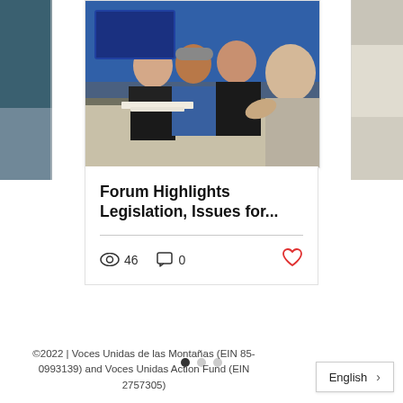[Figure (photo): Partial view of a card/carousel showing a photo of people seated at a table in a meeting or forum setting, with a blue background. Two partial card images are visible on the left and right edges.]
Forum Highlights Legislation, Issues for...
46  0  ♡
[Figure (other): Carousel pagination dots: one filled dark dot and two light grey dots]
©2022 | Voces Unidas de las Montañas (EIN 85-0993139) and Voces Unidas Action Fund (EIN 2757305)
English  >